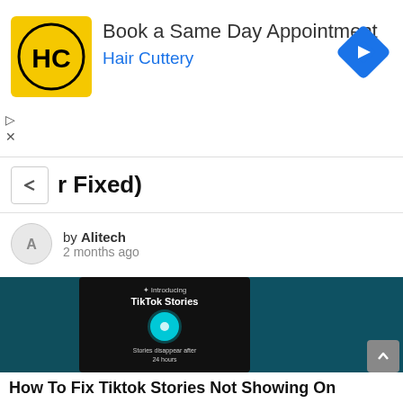[Figure (screenshot): Hair Cuttery advertisement banner with logo, text 'Book a Same Day Appointment' and 'Hair Cuttery' subtitle, and blue navigation diamond icon on the right]
r Fixed)
by Alitech
2 months ago
[Figure (screenshot): TikTok Stories introduction screen showing 'Introducing TikTok Stories' text with camera icon in teal circle, and 'Stories disappear after 24 hours' text, overlaid on a dark teal background]
How To Fix Tiktok Stories Not Showing On